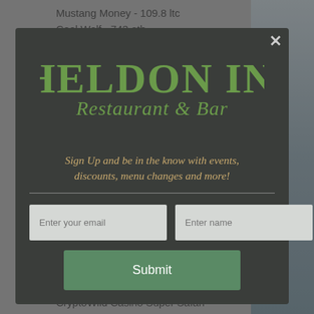Mustang Money - 109.8 ltc
Cool Wolf - 743 eth
[Figure (screenshot): Modal popup overlay on a website with Sheldon Inn Restaurant & Bar logo, signup form with email and name fields, and a submit button]
Sign Up and be in the know with events, discounts, menu changes and more!
CryptoWild Casino Super Safari